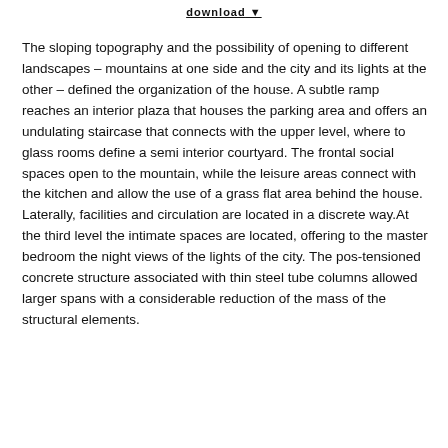download
The sloping topography and the possibility of opening to different landscapes – mountains at one side and the city and its lights at the other – defined the organization of the house. A subtle ramp reaches an interior plaza that houses the parking area and offers an undulating staircase that connects with the upper level, where to glass rooms define a semi interior courtyard. The frontal social spaces open to the mountain, while the leisure areas connect with the kitchen and allow the use of a grass flat area behind the house. Laterally, facilities and circulation are located in a discrete way.At the third level the intimate spaces are located, offering to the master bedroom the night views of the lights of the city. The pos-tensioned concrete structure associated with thin steel tube columns allowed larger spans with a considerable reduction of the mass of the structural elements.